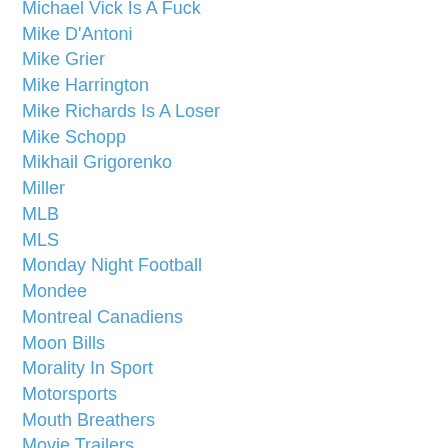Michael Vick Is A Fuck
Mike D'Antoni
Mike Grier
Mike Harrington
Mike Richards Is A Loser
Mike Schopp
Mikhail Grigorenko
Miller
MLB
MLS
Monday Night Football
Mondee
Montreal Canadiens
Moon Bills
Morality In Sport
Motorsports
Mouth Breathers
Movie Trailers
Moxy Früvous
Murderers
NASCAR